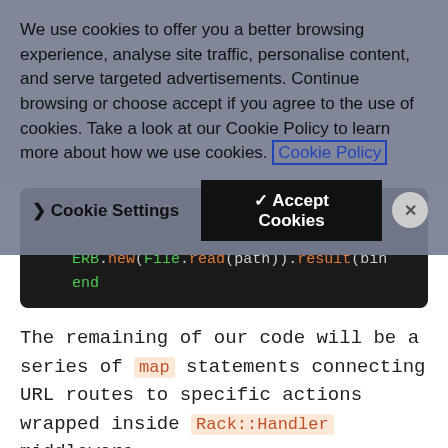We use cookies to offer you a better browsing experience, analyse site traffic, personalise content, and serve targeted advertisements. Continue browsing or choose accept if you agree to the use of cookies. Take a look at our Cookie Policy to learn more about how we use cookies. Cookie Policy
[Figure (screenshot): Cookie consent overlay with Cookie Settings button, Accept Cookies button, and close (x) button]
[Figure (screenshot): Dark code block showing Ruby ERB template code: {template}" ) and ERB.new(File.read(path)).result(bin and end]
The remaining of our code will be a series of map statements connecting URL routes to specific actions wrapped inside Rack::Handler middleware.
Defini the Rout...